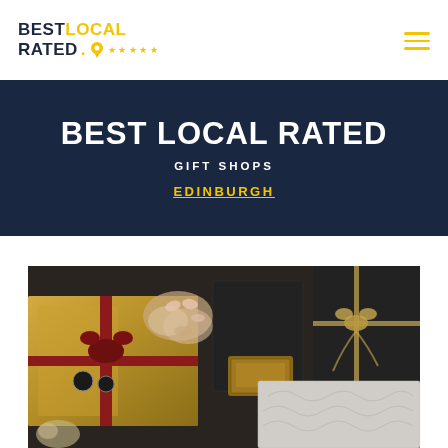BEST LOCAL RATED ★★★★★ [logo with hamburger menu]
BEST LOCAL RATED
GIFT SHOPS
EDINBURGH
[Figure (photo): Overhead photo of elegantly wrapped gift boxes with decorative dried flowers, ribbons, and bows on a dark background]